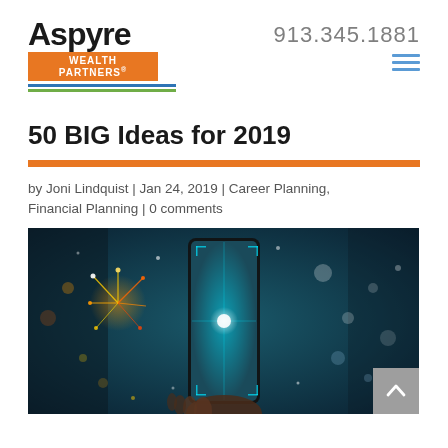[Figure (logo): Aspyre Wealth Partners logo with blue and green lines]
913.345.1881
50 BIG Ideas for 2019
by Joni Lindquist | Jan 24, 2019 | Career Planning, Financial Planning | 0 comments
[Figure (photo): Person holding a smartphone photographing fireworks on a dark teal background with colorful bokeh light effects]